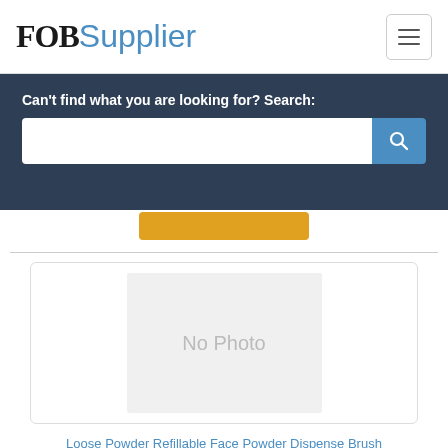FOBSupplier
Can't find what you are looking for? Search:
[Figure (screenshot): Search input box with blue search button containing a magnifying glass icon]
[Figure (photo): Product image placeholder showing 'No Photo' text on a light grey background]
Loose Powder Refillable Face Powder Dispense Brush
Loose Powder Refillable Face Powder Dispense Brush,Website:http://www.zoreyamakeup.com,Podwer Brush Loose Powder Refillable Face Powder Dispense Brush,Website:http://www.zoreyamakeup.com,Podwer